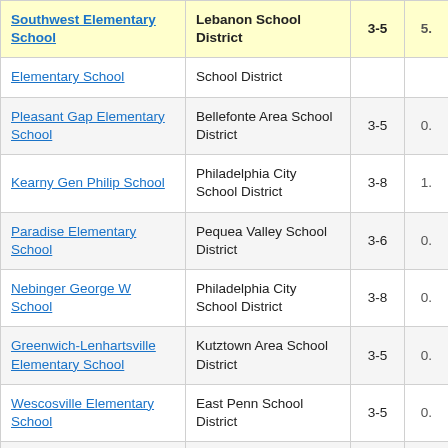| School | District | Grades | Score |
| --- | --- | --- | --- |
| Southwest Elementary School | Lebanon School District | 3-5 | 5. |
| Elementary School | School District |  |  |
| Pleasant Gap Elementary School | Bellefonte Area School District | 3-5 | 0. |
| Kearny Gen Philip School | Philadelphia City School District | 3-8 | 1. |
| Paradise Elementary School | Pequea Valley School District | 3-6 | 0. |
| Nebinger George W School | Philadelphia City School District | 3-8 | 0. |
| Greenwich-Lenhartsville Elementary School | Kutztown Area School District | 3-5 | 0. |
| Wescosville Elementary School | East Penn School District | 3-5 | 0. |
| Lickdale Elementary School | Northern Lebanon School District | 3-5 | 0. |